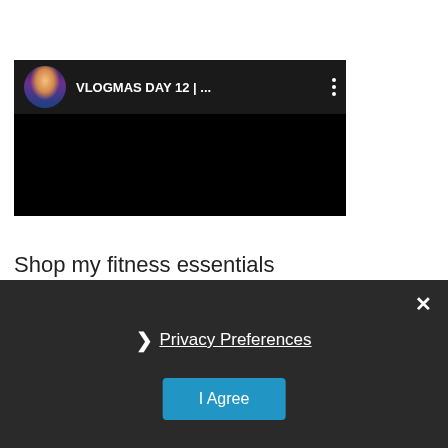[Figure (screenshot): Embedded video player thumbnail showing a dark/black video area with a channel avatar (woman with long hair) and title 'VLOGMAS DAY 12 | ...' with a three-dot menu icon on the right]
Shop my fitness essentials
[Figure (screenshot): Privacy consent overlay banner with dark background showing a close X button, a 'Privacy Preferences' link with chevron, and an 'I Agree' blue button]